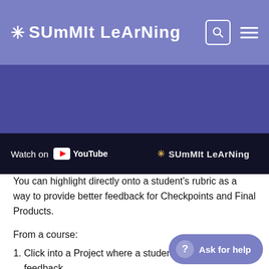[Figure (logo): Summit Learning logo in navigation bar, white text with asterisk on purple background, with search icon and hamburger menu]
[Figure (screenshot): YouTube video thumbnail showing Summit Learning content with 'Watch on YouTube' button and Summit Learning logo overlay]
You can highlight directly onto a student's rubric as a way to provide better feedback for Checkpoints and Final Products.
From a course:
Click into a Project where a student has requested feedback
Click the Checkpoint or Final Product where feedback has been requested